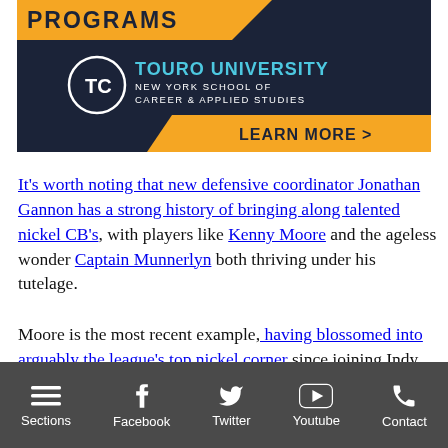[Figure (illustration): Touro University New York School of Career & Applied Studies advertisement banner with dark navy background, orange stripe with PROGRAMS text, university logo, and LEARN MORE > button]
It's worth noting that new defensive coordinator Jonathan Gannon has a strong history of bringing along talented nickel CB's, with players like Kenny Moore and the ageless wonder Captain Munnerlyn both thriving under his tutelage.
Moore is the most recent example, having blossomed into arguably the league's top nickel corner since joining Indy back in 2017. With 13 passes defensed and 4 picks to his name last year, many
Sections  Facebook  Twitter  Youtube  Contact